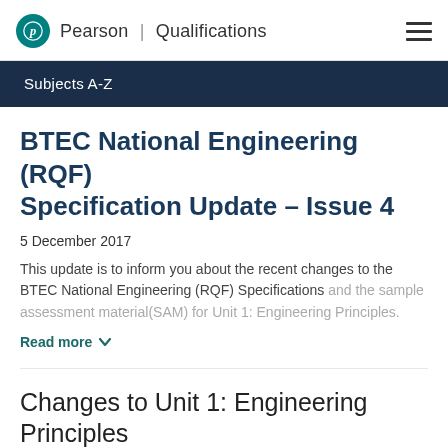Pearson | Qualifications
Subjects A-Z
BTEC National Engineering (RQF) Specification Update – Issue 4
5 December 2017
This update is to inform you about the recent changes to the BTEC National Engineering (RQF) Specifications and the sample assessment material(SAM) for Unit 1: Engineering Principles.
Read more
Changes to Unit 1: Engineering Principles